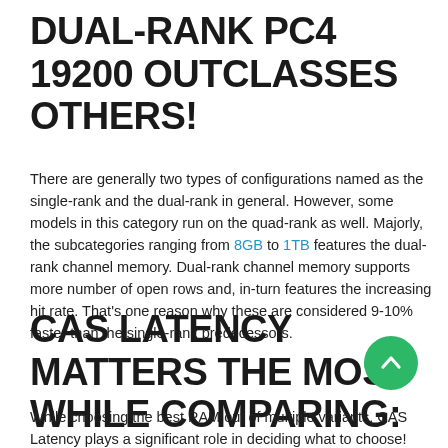DUAL-RANK PC4 19200 OUTCLASSES OTHERS!
There are generally two types of configurations named as the single-rank and the dual-rank in general. However, some models in this category run on the quad-rank as well. Majorly, the subcategories ranging from 8GB to 1TB features the dual-rank channel memory. Dual-rank channel memory supports more number of open rows and, in-turn features the increasing hit rate. That's one reason why these are considered 9-10% faster than the single-rank predecessors.
CAS LATENCY MATTERS THE MOST WHILE COMPARING:
While choosing the best RAM out of multiple variants, CAS Latency plays a significant role in deciding what to choose! DDR4 PC4 19200 features the CAS 17 latency option. Many of you, even